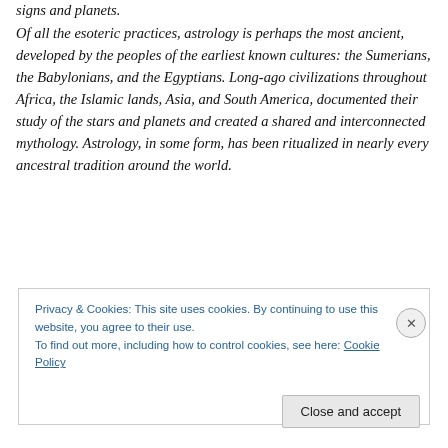signs and planets.
Of all the esoteric practices, astrology is perhaps the most ancient, developed by the peoples of the earliest known cultures: the Sumerians, the Babylonians, and the Egyptians. Long-ago civilizations throughout Africa, the Islamic lands, Asia, and South America, documented their study of the stars and planets and created a shared and interconnected mythology. Astrology, in some form, has been ritualized in nearly every ancestral tradition around the world.
Privacy & Cookies: This site uses cookies. By continuing to use this website, you agree to their use.
To find out more, including how to control cookies, see here: Cookie Policy
Close and accept